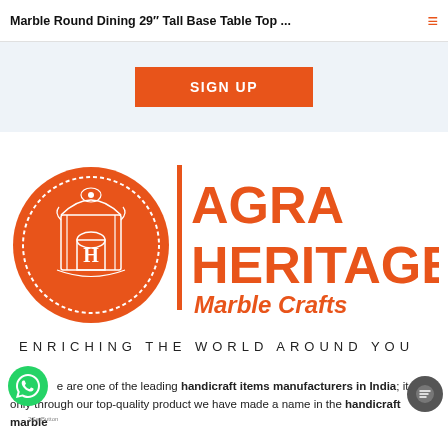Marble Round Dining 29" Tall Base Table Top ...
[Figure (other): Orange SIGN UP button on light blue-grey banner background]
[Figure (logo): Agra Heritage Marble Crafts logo — orange circle with ornate building/arch emblem, large orange text AGRA HERITAGE, Marble Crafts subtitle, tagline ENRICHING THE WORLD AROUND YOU]
We are one of the leading handicraft items manufacturers in India; it is only through our top-quality product we have made a name in the handicraft marble